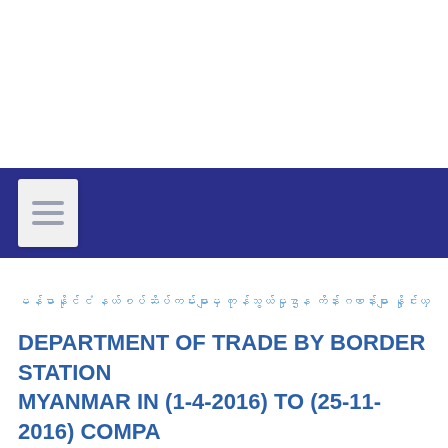[Figure (screenshot): Dark blue navigation bar with a light grey menu/hamburger icon box on the left side]
မြန်မာနိုင်ငံ နယ်စပ်ဆိပ်ကမ်းများမှ ကုန်သွယ်မှုဌာန ကိန်းဂဏန်းများ နှိုင်းယှဉ်ချက်
DEPARTMENT OF TRADE BY BORDER STATION MYANMAR IN (1-4-2016) TO (25-11-2016) COMPA FISCAL YEAR